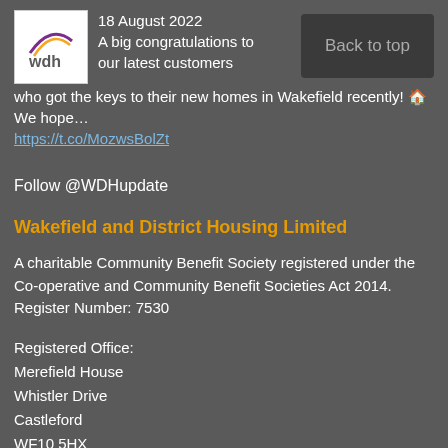[Figure (logo): WDH logo - white background with wdh text and orange/purple arc]
18 August 2022
A big congratulations to our latest customers who got the keys to their new homes in Wakefield recently! 🏠 We hope…
https://t.co/MozwsBolZt
Back to top
Follow @WDHupdate
Wakefield and District Housing Limited
A charitable Community Benefit Society registered under the Co-operative and Community Benefit Societies Act 2014. Register Number: 7530
Registered Office:
Merefield House
Whistler Drive
Castleford
WF10 5HX